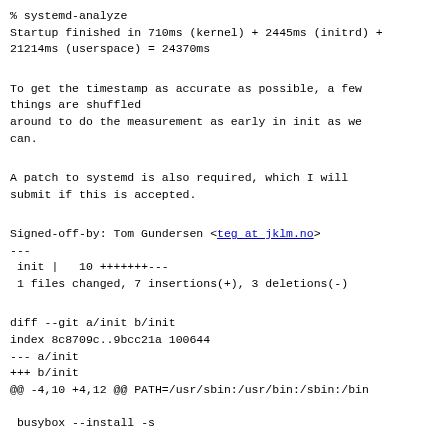% systemd-analyze
Startup finished in 710ms (kernel) + 2445ms (initrd) + 21214ms (userspace) = 24370ms
To get the timestamp as accurate as possible, a few things are shuffled
around to do the measurement as early in init as we can.
A patch to systemd is also required, which I will submit if this is accepted.
Signed-off-by: Tom Gundersen <teg at jklm.no>
---
 init |   10 +++++++---
 1 files changed, 7 insertions(+), 3 deletions(-)
diff --git a/init b/init
index 8c8709c..9bcc21a 100644
--- a/init
+++ b/init
@@ -4,10 +4,12 @@ PATH=/usr/sbin:/usr/bin:/sbin:/bin

 busybox --install -s

+mount -t proc proc /proc -o nosuid,noexec,nodev
+
+RD_TIMESTAMP=$(/bin/cat /proc/uptime)
+
 . /init_functions